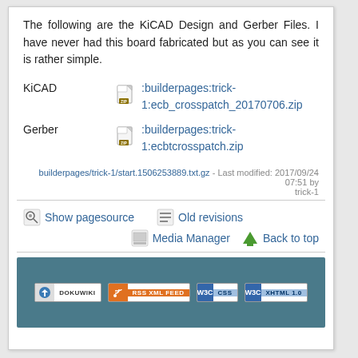The following are the KiCAD Design and Gerber Files. I have never had this board fabricated but as you can see it is rather simple.
KiCAD  [ZIP] :builderpages:trick-1:ecb_crosspatch_20170706.zip
Gerber  [ZIP] :builderpages:trick-1:ecbtcrosspatch.zip
builderpages/trick-1/start.1506253889.txt.gz - Last modified: 2017/09/24 07:51 by trick-1
Show pagesource  Old revisions  Media Manager  Back to top
DOKUWIKI  RSS XML FEED  W3C CSS  W3C XHTML 1.0